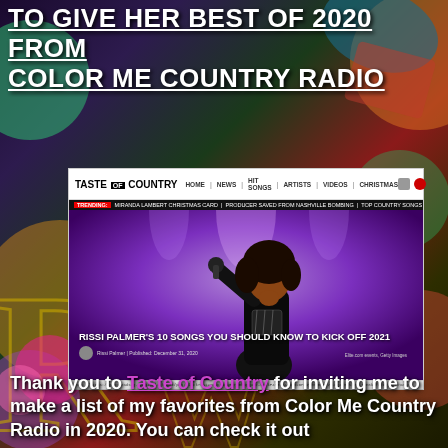TO GIVE HER BEST OF 2020 FROM COLOR ME COUNTRY RADIO
[Figure (screenshot): Screenshot of Taste of Country website showing article titled 'Rissi Palmer's 10 Songs You Should Know to Kick Off 2021' with a photo of a Black woman singing into a microphone against a purple stage background. Navigation bar shows HOME, NEWS, HIT SONGS, ARTISTS, VIDEOS, CHRISTMAS. Trending bar shows Miranda Lambert Christmas card, Producer saved from Nashville bombing, Top country songs of 2020, Country music tours 2021.]
Thank you to Taste of Country for inviting me to make a list of my favorites from Color Me Country Radio in 2020. You can check it out